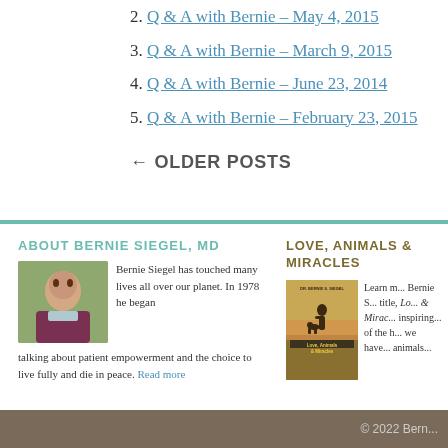2. Q & A with Bernie – May 4, 2015
3. Q & A with Bernie – March 9, 2015
4. Q & A with Bernie – June 23, 2014
5. Q & A with Bernie – February 23, 2015
← OLDER POSTS
ABOUT BERNIE SIEGEL, MD
[Figure (photo): Photo of Bernie Siegel, MD]
Bernie Siegel has touched many lives all over our planet. In 1978 he began talking about patient empowerment and the choice to live fully and die in peace. Read more
LOVE, ANIMALS & MIRACLES
[Figure (photo): Book cover: Love, Animals & Miracles by Dr. Bernie S. Siegel]
Learn m... Bernie S... title, Lo... & Mirac... inspiring... of the h... we have... animals...
© 2022 Bern...